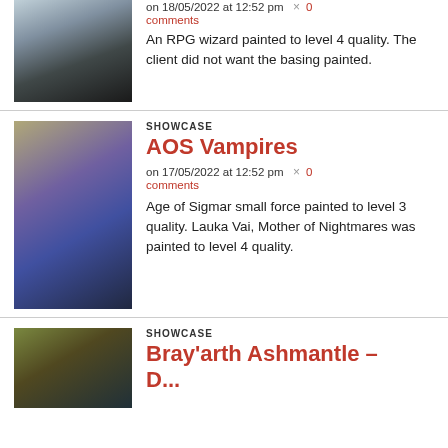[Figure (photo): Photo of a painted RPG wizard miniature on a black base, wearing blue robes]
on 18/05/2022 at 12:52 pm
0 comments
An RPG wizard painted to level 4 quality. The client did not want the basing painted.
SHOWCASE
AOS Vampires
on 17/05/2022 at 12:52 pm  × 0 comments
Age of Sigmar small force painted to level 3 quality. Lauka Vai, Mother of Nightmares was painted to level 4 quality.
[Figure (photo): Photo of a painted AOS Vampire Lord miniature in purple and gold armor with large bat wings]
SHOWCASE
Bray'arth Ashmantle –
[Figure (photo): Photo of a painted Bray'arth Ashmantle miniature, a mechanical dreadnought covered in trophies]